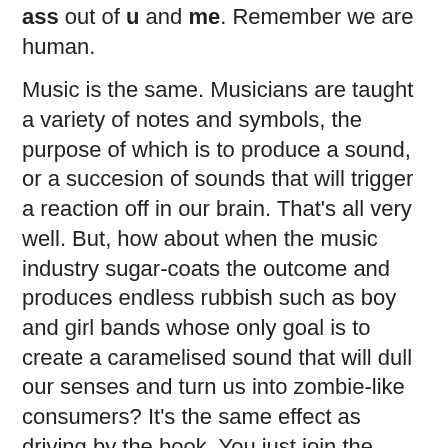ass out of u and me. Remember we are human.
Music is the same. Musicians are taught a variety of notes and symbols, the purpose of which is to produce a sound, or a succesion of sounds that will trigger a reaction off in our brain. That's all very well. But, how about when the music industry sugar-coats the outcome and produces endless rubbish such as boy and girl bands whose only goal is to create a caramelised sound that will dull our senses and turn us into zombie-like consumers? It's the same effect as driving by the book. You just join the queue of vehicles going in the same direction and at the same pace. Fortunately, unlike in traffic, in music it is the near-misses that save you from the utter tosh that industry seems to represent in this day and time.
The examples below are by artists who don't conform or have never conformed to a norm established by an A&R person or a producer. They are innovators in their own right and we ought to be grateful that they still dare to take risks. After all, these are the near-misses that enrich our soul musically.